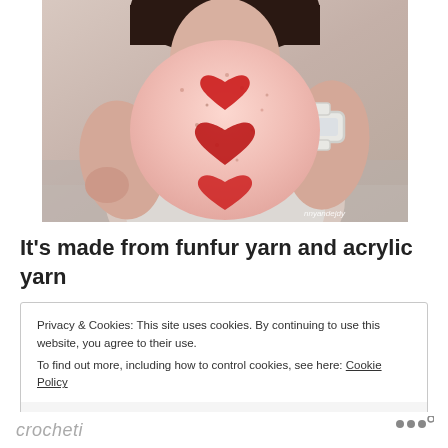[Figure (photo): A person holding a pink fuzzy crochet bag/clutch with three red heart appliques, wearing a white watch on their wrist. The background is light/outdoor setting.]
It's made from funfur yarn and acrylic yarn
Privacy & Cookies: This site uses cookies. By continuing to use this website, you agree to their use.
To find out more, including how to control cookies, see here: Cookie Policy
Close and accept
crocheti